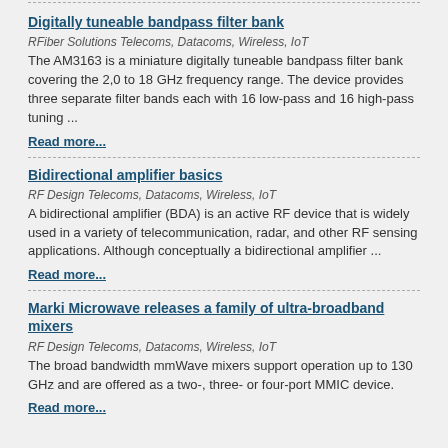Digitally tuneable bandpass filter bank
RFiber Solutions Telecoms, Datacoms, Wireless, IoT
The AM3163 is a miniature digitally tuneable bandpass filter bank covering the 2,0 to 18 GHz frequency range. The device provides three separate filter bands each with 16 low-pass and 16 high-pass tuning ...
Read more...
Bidirectional amplifier basics
RF Design Telecoms, Datacoms, Wireless, IoT
A bidirectional amplifier (BDA) is an active RF device that is widely used in a variety of telecommunication, radar, and other RF sensing applications. Although conceptually a bidirectional amplifier ...
Read more...
Marki Microwave releases a family of ultra-broadband mixers
RF Design Telecoms, Datacoms, Wireless, IoT
The broad bandwidth mmWave mixers support operation up to 130 GHz and are offered as a two-, three- or four-port MMIC device.
Read more...